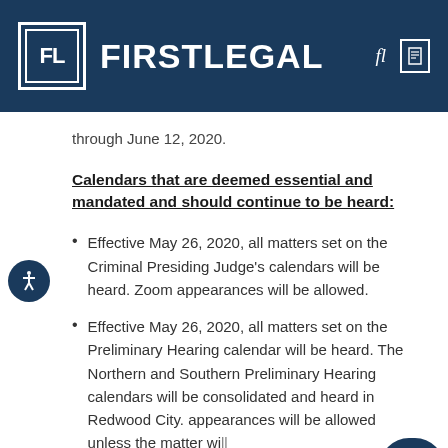FIRSTLEGAL
through June 12, 2020.
Calendars that are deemed essential and mandated and should continue to be heard:
Effective May 26, 2020, all matters set on the Criminal Presiding Judge's calendars will be heard. Zoom appearances will be allowed.
Effective May 26, 2020, all matters set on the Preliminary Hearing calendar will be heard. The Northern and Southern Preliminary Hearing calendars will be consolidated and heard in Redwood City. appearances will be allowed unless the matter will proceed to an evidentiary hearing, in which case